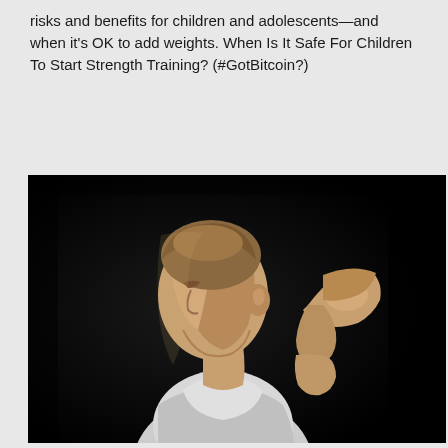risks and benefits for children and adolescents—and when it's OK to add weights. When Is It Safe For Children To Start Strength Training? (#GotBitcoin?)
[Figure (photo): A young boy in a sleeveless white shirt, photographed in profile against a dark/black background, flexing his right arm muscle upward — a dramatic low-key portrait emphasizing strength.]